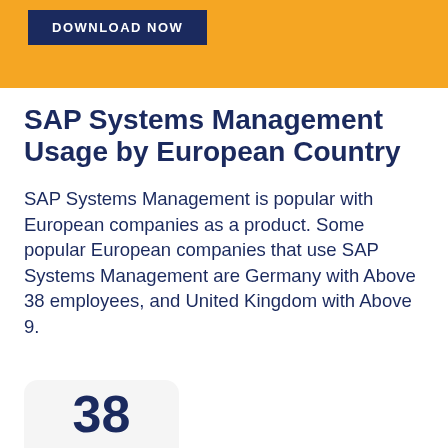[Figure (other): Orange banner with dark blue DOWNLOAD NOW button]
SAP Systems Management Usage by European Country
SAP Systems Management is popular with European companies as a product. Some popular European companies that use SAP Systems Management are Germany with Above 38 employees, and United Kingdom with Above 9.
38